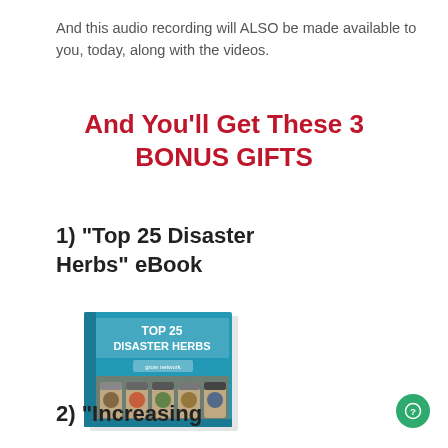And this audio recording will ALSO be made available to you, today, along with the videos.
And You'll Get These 3 BONUS GIFTS
1) "Top 25 Disaster Herbs" eBook
[Figure (illustration): Book cover showing 'TOP 25 DISASTER HERBS' with spice/herb jars on a teal background]
2) "Increasing